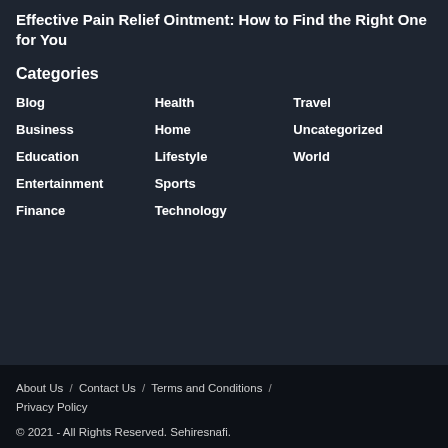Effective Pain Relief Ointment: How to Find the Right One for You
Categories
Blog
Health
Travel
Business
Home
Uncategorized
Education
Lifestyle
World
Entertainment
Sports
Finance
Technology
About Us  /  Contact Us  /  Terms and Conditions  /  Privacy Policy
© 2021 - All Rights Reserved. Sehiresnafi.